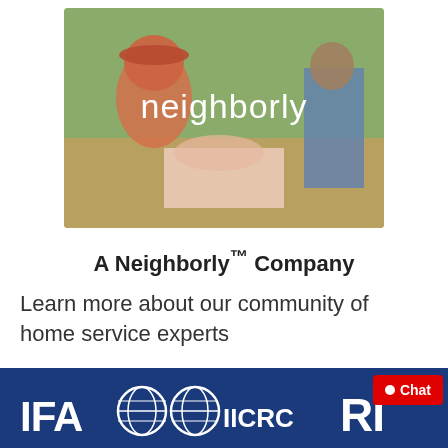[Figure (photo): Neighborly branded image showing people outdoors with 'neighborly' text displayed in white large font over the photo]
A Neighborly™ Company
Learn more about our community of home service experts
[Figure (logo): Footer bar with IFA globe logo, IICRC globe logo, and RIA logo on dark blue background, with a red Chat button overlay]